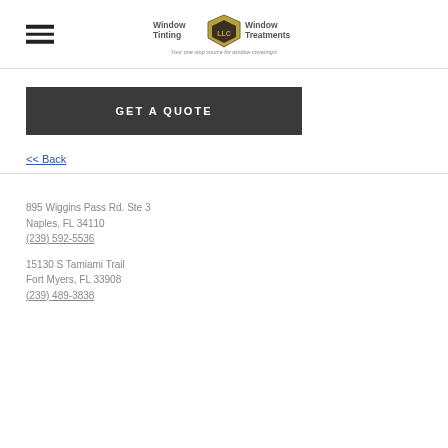Window Tinting | Window Treatments — Your one stop source for window coverings!
GET A QUOTE
<< Back
895 Wiggins Pass Rd. Ste 3
Naples, FL 34110
(239) 592-5536
15130 S Tamiami Trail
Fort Myers, FL 33908
(239) 489-3838